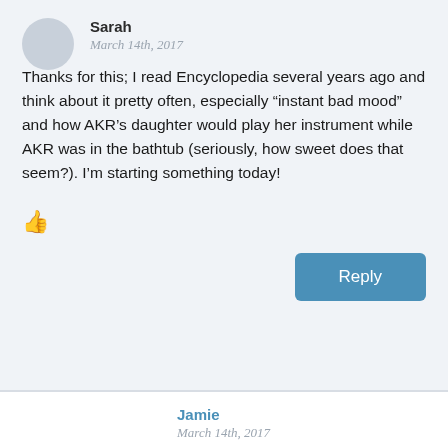Sarah
March 14th, 2017
Thanks for this; I read Encyclopedia several years ago and think about it pretty often, especially “instant bad mood” and how AKR’s daughter would play her instrument while AKR was in the bathtub (seriously, how sweet does that seem?). I’m starting something today!
👍
Reply
Jamie
March 14th, 2017
Sugar Cookies: Sweet Little Lessons of Love and Plant a